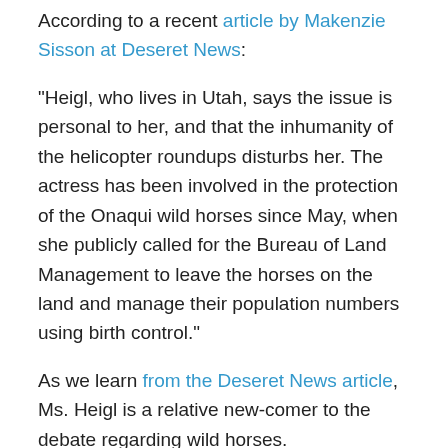According to a recent article by Makenzie Sisson at Deseret News:
“Heigl, who lives in Utah, says the issue is personal to her, and that the inhumanity of the helicopter roundups disturbs her. The actress has been involved in the protection of the Onaqui wild horses since May, when she publicly called for the Bureau of Land Management to leave the horses on the land and manage their population numbers using birth control.”
As we learn from the Deseret News article, Ms. Heigl is a relative new-comer to the debate regarding wild horses.
There are thousands of advocates, including some celebrities, with 10-years or more of full-time wild horse and burro advocacy, and dozens with 20, 30 and 40 years or more.